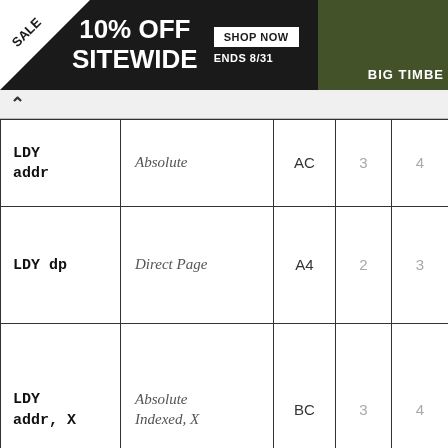[Figure (screenshot): Sale banner: 10% OFF SITEWIDE, SHOP NOW, ENDS 8/31, BIG TIMBE[R] logo/image on right]
| Instruction | Mode | Opcode | Bytes | Cycles |
| --- | --- | --- | --- | --- |
| LDY addr | Absolute | AC | 3 | 4 |
| LDY dp | Direct Page | A4 | 2 | 3 |
| LDY addr, X | Absolute Indexed, X | BC | 3 | 4 |
| LDY dp, X | Direct Page Indexed, X | B4 | 2 |  |